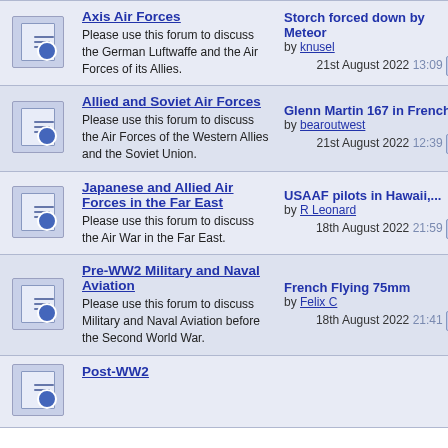| Icon | Forum | Last Post | Count |  |
| --- | --- | --- | --- | --- |
| [icon] | Axis Air Forces
Please use this forum to discuss the German Luftwaffe and the Air Forces of its Allies. | Storch forced down by Meteor
by knusel
21st August 2022 13:09 | 29,038 |  |
| [icon] | Allied and Soviet Air Forces
Please use this forum to discuss the Air Forces of the Western Allies and the Soviet Union. | Glenn Martin 167 in French...
by bearoutwest
21st August 2022 12:39 | 13,882 |  |
| [icon] | Japanese and Allied Air Forces in the Far East
Please use this forum to discuss the Air War in the Far East. | USAAF pilots in Hawaii,...
by R Leonard
18th August 2022 21:59 | 1,089 |  |
| [icon] | Pre-WW2 Military and Naval Aviation
Please use this forum to discuss Military and Naval Aviation before the Second World War. | French Flying 75mm
by Felix C
18th August 2022 21:41 | 819 |  |
| [icon] | Post-WW2 |  |  |  |